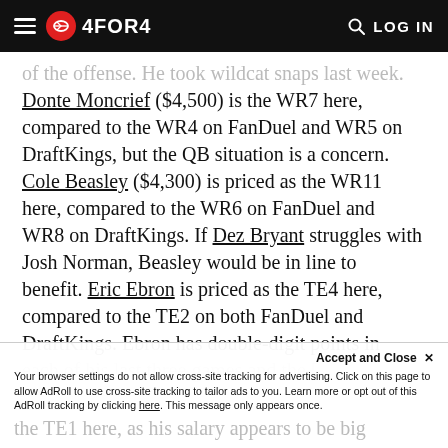4FOR4 — LOG IN
of the offense. He took wildcat snaps last week. Donte Moncrief ($4,500) is the WR7 here, compared to the WR4 on FanDuel and WR5 on DraftKings, but the QB situation is a concern. Cole Beasley ($4,300) is priced as the WR11 here, compared to the WR6 on FanDuel and WR8 on DraftKings. If Dez Bryant struggles with Josh Norman, Beasley would be in line to benefit. Eric Ebron is priced as the TE4 here, compared to the TE2 on both FanDuel and DraftKings. Ebron has double-digit points in each of his last three games and the [cut off]
Accept and Close ✕
Your browser settings do not allow cross-site tracking for advertising. Click on this page to allow AdRoll to use cross-site tracking to tailor ads to you. Learn more or opt out of this AdRoll tracking by clicking here. This message only appears once.
the TE1 here, as his salary appears to be big [cut off]